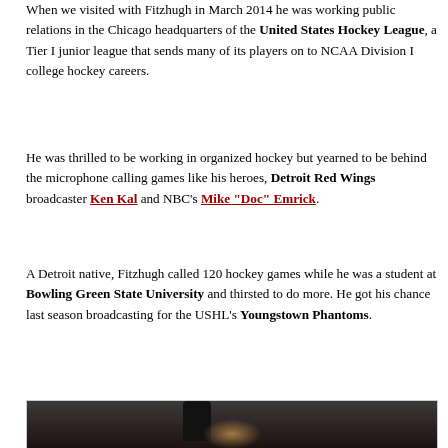When we visited with Fitzhugh in March 2014 he was working public relations in the Chicago headquarters of the United States Hockey League, a Tier I junior league that sends many of its players on to NCAA Division I college hockey careers.
He was thrilled to be working in organized hockey but yearned to be behind the microphone calling games like his heroes, Detroit Red Wings broadcaster Ken Kal and NBC's Mike "Doc" Emrick.
A Detroit native, Fitzhugh called 120 hockey games while he was a student at Bowling Green State University and thirsted to do more. He got his chance last season broadcasting for the USHL's Youngstown Phantoms.
[Figure (photo): A dark photograph of a person, partially visible at the bottom, with low lighting suggesting a broadcasting or studio setting. A microphone shape is visible.]